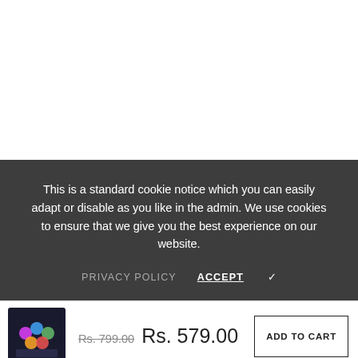[Figure (screenshot): White blank area representing page content above cookie banner]
This is a standard cookie notice which you can easily adapt or disable as you like in the admin. We use cookies to ensure that we give you the best experience on our website.
PRIVACY POLICY   ACCEPT ✓
[Figure (photo): Small product thumbnail image showing a dark mousepad with colorful cartoon character designs]
Rs. 799.00  Rs. 579.00
ADD TO CART